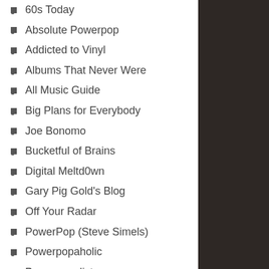60s Today
Absolute Powerpop
Addicted to Vinyl
Albums That Never Were
All Music Guide
Big Plans for Everybody
Joe Bonomo
Bucketful of Brains
Digital Meltd0wn
Gary Pig Gold's Blog
Off Your Radar
PowerPop (Steve Simels)
Powerpopaholic
Powerpopulist
Prog Archives
Pulmyears (Paul Myers)
Super Deluxe Edition